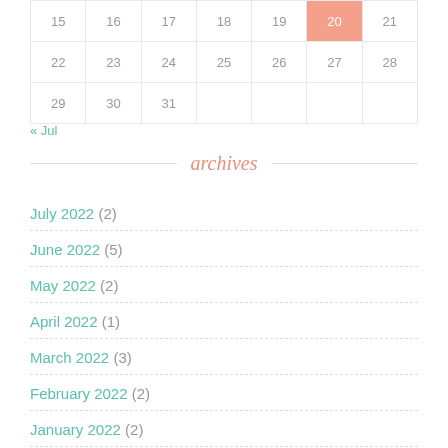| 15 | 16 | 17 | 18 | 19 | 20 | 21 |
| 22 | 23 | 24 | 25 | 26 | 27 | 28 |
| 29 | 30 | 31 |  |  |  |  |
« Jul
archives
July 2022 (2)
June 2022 (5)
May 2022 (2)
April 2022 (1)
March 2022 (3)
February 2022 (2)
January 2022 (2)
December 2021 (1)